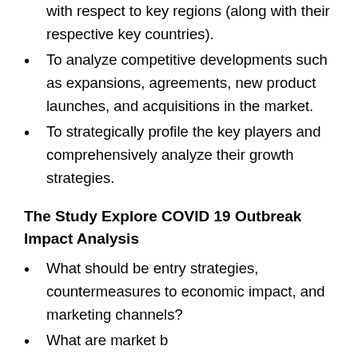with respect to key regions (along with their respective key countries).
To analyze competitive developments such as expansions, agreements, new product launches, and acquisitions in the market.
To strategically profile the key players and comprehensively analyze their growth strategies.
The Study Explore COVID 19 Outbreak Impact Analysis
What should be entry strategies, countermeasures to economic impact, and marketing channels?
What are market b...